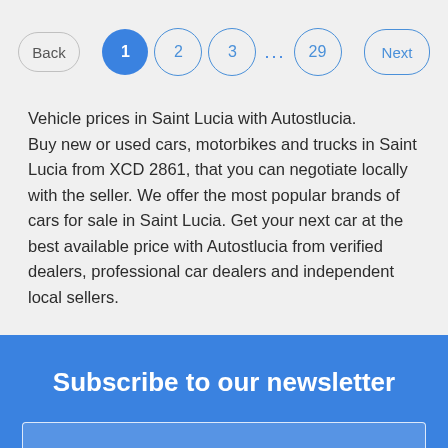[Figure (other): Pagination bar with Back button, page numbers 1 (active), 2, 3, ..., 29, and Next button]
Vehicle prices in Saint Lucia with Autostlucia. Buy new or used cars, motorbikes and trucks in Saint Lucia from XCD 2861, that you can negotiate locally with the seller. We offer the most popular brands of cars for sale in Saint Lucia. Get your next car at the best available price with Autostlucia from verified dealers, professional car dealers and independent local sellers.
Subscribe to our newsletter